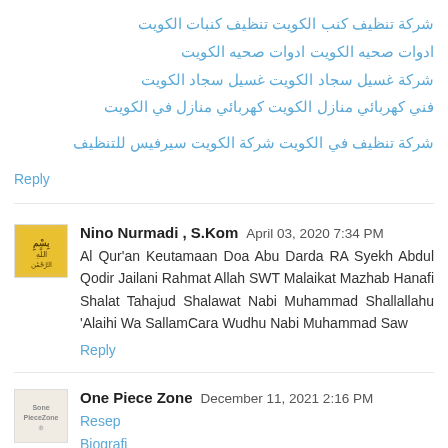شركة تنظيف كنب الكويت تنظيف كنبات الكويت
ادوات صحيه الكويت ادوات صحيه الكويت
شركة غسيل سجاد الكويت غسيل سجاد الكويت
فني كهربائي منازل الكويت كهربائي منازل في الكويت
شركة تنظيف في الكويت شركة الكويت سيرفيس للتنظيف
Reply
Nino Nurmadi , S.Kom  April 03, 2020 7:34 PM
Al Qur'an Keutamaan Doa Abu Darda RA Syekh Abdul Qodir Jailani Rahmat Allah SWT Malaikat Mazhab Hanafi Shalat Tahajud Shalawat Nabi Muhammad Shallallahu 'Alaihi Wa SallamCara Wudhu Nabi Muhammad Saw
Reply
One Piece Zone  December 11, 2021 2:16 PM
Resep
Biografi